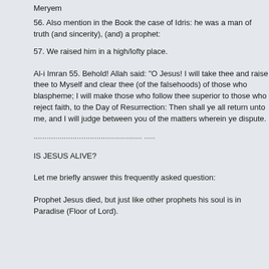Meryem
56. Also mention in the Book the case of Idris: he was a man of truth (and sincerity), (and) a prophet:
57. We raised him in a high/lofty place.
Al-i Imran 55. Behold! Allah said: "O Jesus! I will take thee and raise thee to Myself and clear thee (of the falsehoods) of those who blaspheme; I will make those who follow thee superior to those who reject faith, to the Day of Resurrection: Then shall ye all return unto me, and I will judge between you of the matters wherein ye dispute.
.................................................. .....
IS JESUS ALIVE?
Let me briefly answer this frequently asked question:
Prophet Jesus died, but just like other prophets his soul is in Paradise (Floor of Lord).